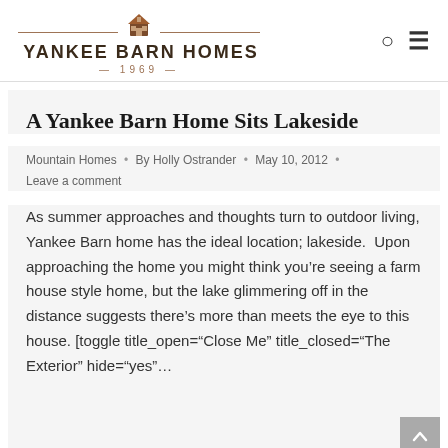YANKEE BARN HOMES 1969
A Yankee Barn Home Sits Lakeside
Mountain Homes • By Holly Ostrander • May 10, 2012 • Leave a comment
As summer approaches and thoughts turn to outdoor living, Yankee Barn home has the ideal location; lakeside.  Upon approaching the home you might think you're seeing a farm house style home, but the lake glimmering off in the distance suggests there's more than meets the eye to this house. [toggle title_open="Close Me" title_closed="The Exterior" hide="yes"...